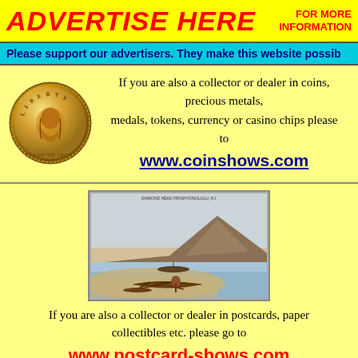[Figure (infographic): Yellow banner with red italic bold text 'ADVERTISE HERE' and red bold text 'FOR MORE INFORMATION' on the right]
Please support our advertisers. They make this website possible
[Figure (photo): Gold Sacagawea Liberty dollar coin]
If you are also a collector or dealer in coins, precious metals, medals, tokens, currency or casino chips please to www.coinshows.com
[Figure (photo): Vintage postcard image of Diamond Head from Honolulu with canoes on beach]
If you are also a collector or dealer in postcards, paper collectibles etc. please go to www.postcard-shows.com